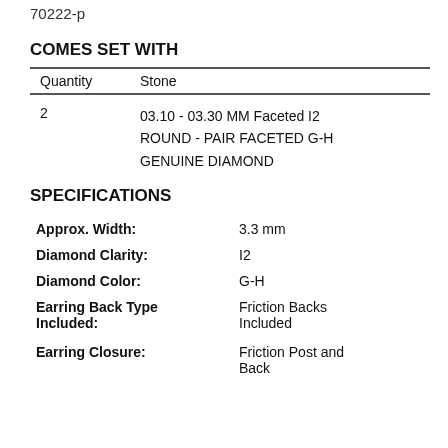70222-p
COMES SET WITH
| Quantity | Stone |
| --- | --- |
| 2 | 03.10 - 03.30 MM Faceted I2 ROUND - PAIR FACETED G-H GENUINE DIAMOND |
SPECIFICATIONS
| Approx. Width: | 3.3 mm |
| Diamond Clarity: | I2 |
| Diamond Color: | G-H |
| Earring Back Type Included: | Friction Backs Included |
| Earring Closure: | Friction Post and Back |